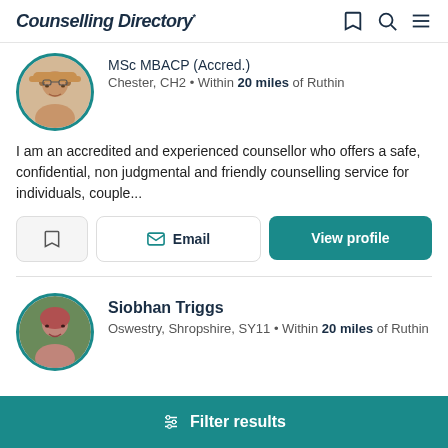Counselling Directory
MSc MBACP (Accred.)
Chester, CH2 • Within 20 miles of Ruthin
I am an accredited and experienced counsellor who offers a safe, confidential, non judgmental and friendly counselling service for individuals, couple...
Email
View profile
Siobhan Triggs
Oswestry, Shropshire, SY11 • Within 20 miles of Ruthin
Filter results